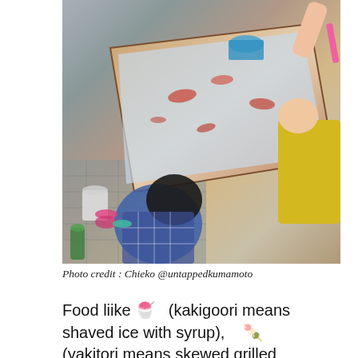[Figure (photo): Overhead/angled photo of children at an outdoor goldfish scooping (kingyo sukui) activity at what appears to be a Japanese summer festival. A long wooden trough filled with water and small fish is visible, with several children leaning over it using small nets or paddles. Plastic buckets, bowls, and bottles are scattered around on a paved outdoor surface.]
Photo credit : Chieko @untappedkumamoto
Food liike 🍧　(kakigoori means shaved ice with syrup),　🍡 (yakitori means skewed grilled chicken), 🍡🍡　(hashimaki means rolled